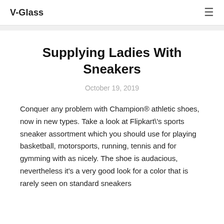V-Glass
Supplying Ladies With Sneakers
October 19, 2019
Conquer any problem with Champion® athletic shoes, now in new types. Take a look at Flipkart\'s sports sneaker assortment which you should use for playing basketball, motorsports, running, tennis and for gymming with as nicely. The shoe is audacious, nevertheless it's a very good look for a color that is rarely seen on standard sneakers